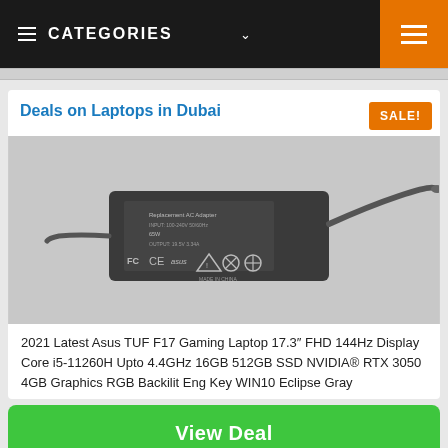CATEGORIES
Deals on Laptops in Dubai
[Figure (photo): Black laptop AC adapter/power brick with FCC CE certification markings and cable, photographed on white/gray background]
2021 Latest Asus TUF F17 Gaming Laptop 17.3" FHD 144Hz Display Core i5-11260H Upto 4.4GHz 16GB 512GB SSD NVIDIA® RTX 3050 4GB Graphics RGB Backilit Eng Key WIN10 Eclipse Gray
View Deal